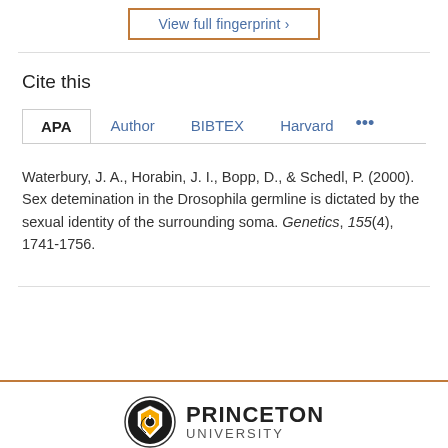[Figure (other): View full fingerprint button with orange border and blue text]
Cite this
APA  Author  BIBTEX  Harvard  ···
Waterbury, J. A., Horabin, J. I., Bopp, D., & Schedl, P. (2000). Sex detemination in the Drosophila germline is dictated by the sexual identity of the surrounding soma. Genetics, 155(4), 1741-1756.
[Figure (logo): Princeton University logo with shield icon and text PRINCETON UNIVERSITY]